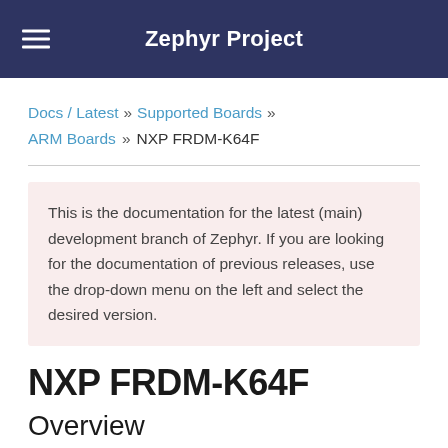Zephyr Project
Docs / Latest » Supported Boards » ARM Boards » NXP FRDM-K64F
This is the documentation for the latest (main) development branch of Zephyr. If you are looking for the documentation of previous releases, use the drop-down menu on the left and select the desired version.
NXP FRDM-K64F
Overview